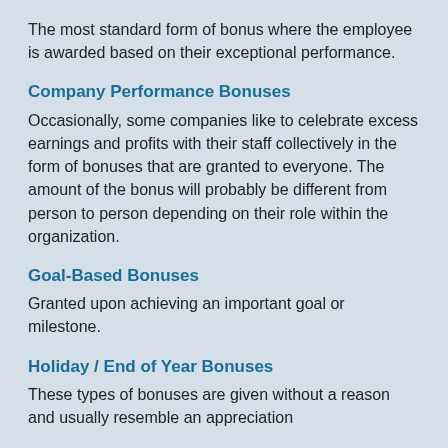The most standard form of bonus where the employee is awarded based on their exceptional performance.
Company Performance Bonuses
Occasionally, some companies like to celebrate excess earnings and profits with their staff collectively in the form of bonuses that are granted to everyone. The amount of the bonus will probably be different from person to person depending on their role within the organization.
Goal-Based Bonuses
Granted upon achieving an important goal or milestone.
Holiday / End of Year Bonuses
These types of bonuses are given without a reason and usually resemble an appreciation